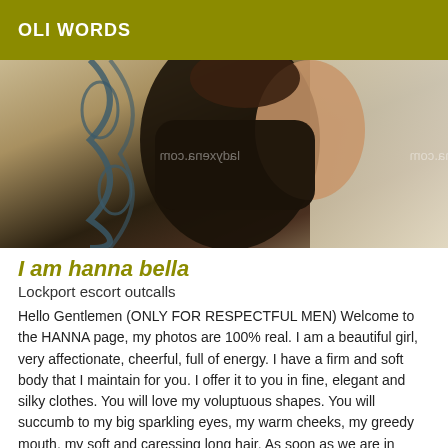OLI WORDS
[Figure (photo): A woman photographed from behind/side in dark clothing against a light background, with a mirrored watermark reading ladyxena.com]
I am hanna bella
Lockport escort outcalls
Hello Gentlemen (ONLY FOR RESPECTFUL MEN) Welcome to the HANNA page, my photos are 100% real. I am a beautiful girl, very affectionate, cheerful, full of energy. I have a firm and soft body that I maintain for you. I offer it to you in fine, elegant and silky clothes. You will love my voluptuous shapes. You will succumb to my big sparkling eyes, my warm cheeks, my greedy mouth, my soft and caressing long hair. As soon as we are in